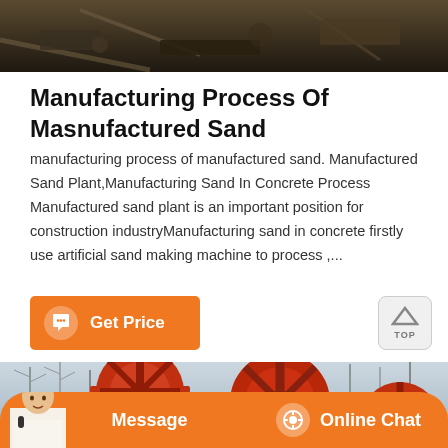[Figure (photo): Construction site or mining site photo showing dark ground, debris and structural elements at the top of the page]
Manufacturing Process Of Masnufactured Sand
manufacturing process of manufactured sand. Manufactured Sand Plant,Manufacturing Sand In Concrete Process Manufactured sand plant is an important position for construction industryManufacturing sand in concrete firstly use artificial sand making machine to process ,...
[Figure (other): Orange Get Price button with chat bubble icon]
[Figure (photo): Outdoor industrial scene showing large red gear/wheel machinery equipment with bare trees in the background]
[Figure (other): Bottom navigation bar with Message and Online Chat buttons, and person avatar on left]